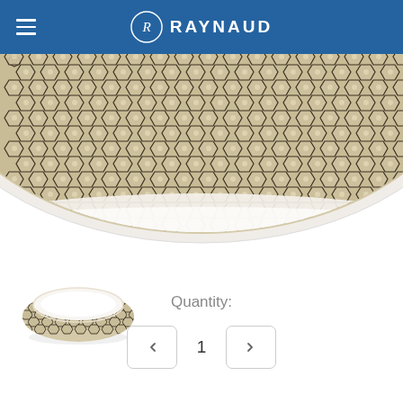RAYNAUD
[Figure (photo): Close-up top view of a ceramic bowl with dark hexagonal geometric pattern on a beige/cream background, cropped to show the top portion only]
[Figure (photo): Thumbnail side view of a small ceramic bowl with honeycomb/hexagonal pattern on the exterior, white interior, viewed from a slight angle]
Quantity:
1